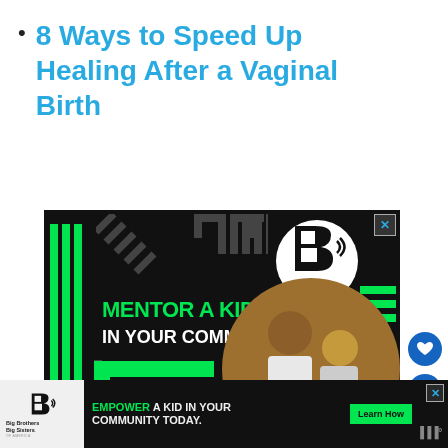8 Ways to Speed Up Healing After a Vaginal Birth
[Figure (illustration): Big Brothers Big Sisters of America advertisement. Black background with green geometric shapes, vertical bars, and stylized letter forms. Text reads 'MENTOR A KID IN YOUR COMMUNITY.' with a 'Learn How' button. Features a photo of a man and child working together on a project. Logo on white circle in upper right.]
[Figure (illustration): Bottom banner advertisement for Big Brothers Big Sisters of America reading 'EMPOWER A KID IN YOUR COMMUNITY TODAY.' with a Learn How button.]